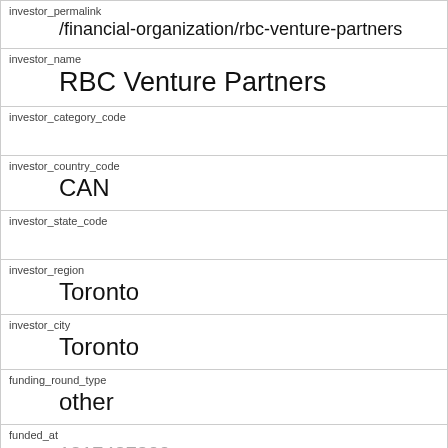| investor_permalink | /financial-organization/rbc-venture-partners |
| investor_name | RBC Venture Partners |
| investor_category_code |  |
| investor_country_code | CAN |
| investor_state_code |  |
| investor_region | Toronto |
| investor_city | Toronto |
| funding_round_type | other |
| funded_at | 1317427200 |
| funded_year | 2011 |
| raised_amount_usd |  |